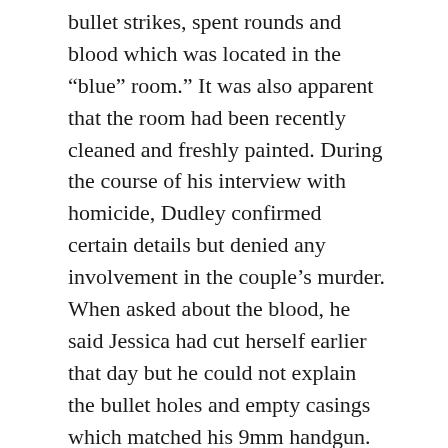bullet strikes, spent rounds and blood which was located in the “blue” room.” It was also apparent that the room had been recently cleaned and freshly painted. During the course of his interview with homicide, Dudley confirmed certain details but denied any involvement in the couple’s murder. When asked about the blood, he said Jessica had cut herself earlier that day but he could not explain the bullet holes and empty casings which matched his 9mm handgun.
The remains were later identified as Jessica Lewis, a 36-year-old mother of four, and her 27-year-old boyfriend, Austin Wenner. And according to police, Wenner died of a single